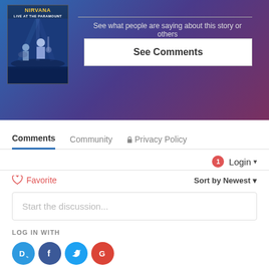[Figure (screenshot): Nirvana Live at the Paramount album cover thumbnail shown in top-left of a gradient blue-to-purple-to-red banner section]
See what people are saying about this story or others
See Comments
Comments
Community
Privacy Policy
1
Login
Favorite
Sort by Newest
Start the discussion...
LOG IN WITH